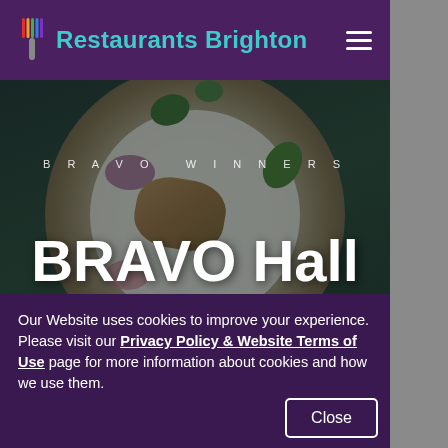Restaurants Brighton
[Figure (screenshot): Website screenshot showing the Restaurants Brighton header with teal logo and site name on purple background, with hamburger menu icon]
BRAVO Hall of Fame
BRAVO WINNERS
Our Website uses cookies to improve your experience. Please visit our Privacy Policy & Website Terms of Use page for more information about cookies and how we use them.
Close